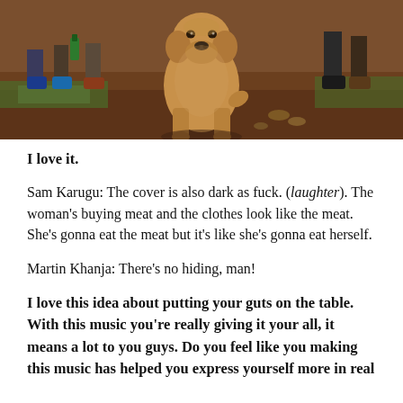[Figure (photo): A dog sitting on dirt ground outdoors, with people's feet and legs visible in the background, and some greenery.]
I love it.
Sam Karugu: The cover is also dark as fuck. (laughter). The woman's buying meat and the clothes look like the meat. She's gonna eat the meat but it's like she's gonna eat herself.
Martin Khanja: There's no hiding, man!
I love this idea about putting your guts on the table. With this music you're really giving it your all, it means a lot to you guys. Do you feel like you making this music has helped you express yourself more in real